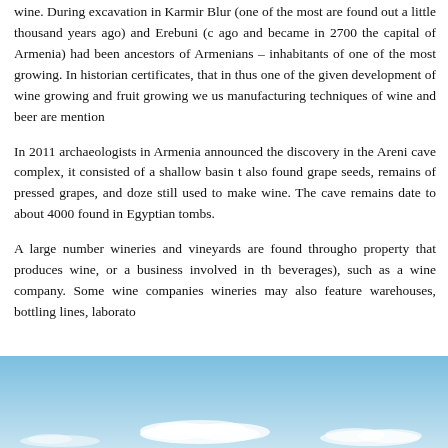wine. During excavation in Karmir Blur (one of the most are found out a little thousand years ago) and Erebuni (c ago and became in 2700 the capital of Armenia) had been ancestors of Armenians – inhabitants of one of the most growing. In historian certificates, that in thus one of the given development of wine growing and fruit growing we us manufacturing techniques of wine and beer are mention
In 2011 archaeologists in Armenia announced the discovery in the Areni cave complex, it consisted of a shallow basin t also found grape seeds, remains of pressed grapes, and doze still used to make wine. The cave remains date to about 4000 found in Egyptian tombs.
A large number wineries and vineyards are found througho property that produces wine, or a business involved in th beverages), such as a wine company. Some wine companies wineries may also feature warehouses, bottling lines, laborato
[Figure (photo): A landscape photo showing a blue sky with white clouds, partially visible at the bottom of the page. The image is cropped showing only the sky portion.]